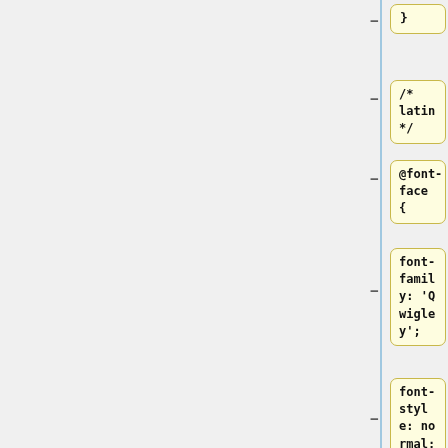}
/* latin */
@font-face {
font-family: 'Qwigley';
font-style: normal;
font-weight: normal;
src: local('Qwigley'), local('Qwigley-Regular'), url(https://fonts.gstatic.com/s/qwigley/v6/gThgNuQB0o5lTpgpLi4Zpw.woff2)